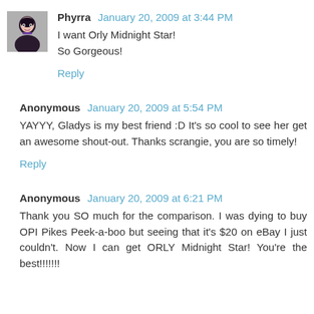Phyrra  January 20, 2009 at 3:44 PM
I want Orly Midnight Star!
So Gorgeous!
Reply
Anonymous  January 20, 2009 at 5:54 PM
YAYYY, Gladys is my best friend :D It's so cool to see her get an awesome shout-out. Thanks scrangie, you are so timely!
Reply
Anonymous  January 20, 2009 at 6:21 PM
Thank you SO much for the comparison. I was dying to buy OPI Pikes Peek-a-boo but seeing that it's $20 on eBay I just couldn't. Now I can get ORLY Midnight Star! You're the best!!!!!!!